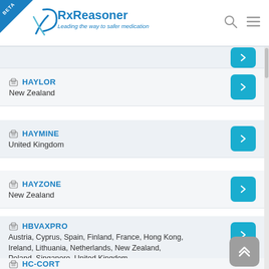RxReasoner — Leading the way to safer medication
HAYLOR — New Zealand
HAYMINE — United Kingdom
HAYZONE — New Zealand
HBVAXPRO — Austria, Cyprus, Spain, Finland, France, Hong Kong, Ireland, Lithuania, Netherlands, New Zealand, Poland, Singapore, United Kingdom
HC-CORT — Lithuania